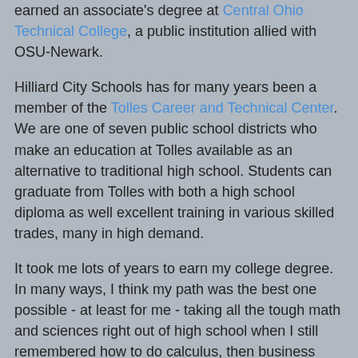earned an associate's degree at Central Ohio Technical College, a public institution allied with OSU-Newark.
Hilliard City Schools has for many years been a member of the Tolles Career and Technical Center. We are one of seven public school districts who make an education at Tolles available as an alternative to traditional high school. Students can graduate from Tolles with both a high school diploma as well excellent training in various skilled trades, many in high demand.
It took me lots of years to earn my college degree. In many ways, I think my path was the best one possible - at least for me - taking all the tough math and sciences right out of high school when I still remembered how to do calculus, then business courses a decade later when I was beginning my managerial career and understood the application for those skills, and finally the humanities and social sciences when I was in my 30s, and a little more understanding of the richness and variety of life in this world. It was a pay-as-you go approach, with a little help from scholarships as well as my employer, who had a generous tuition-assistance